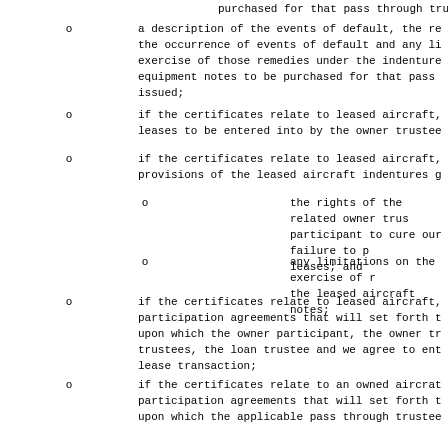purchased for that pass through trust will be
a description of the events of default, the re the occurrence of events of default and any li exercise of those remedies under the indenture equipment notes to be purchased for that pass issued;
if the certificates relate to leased aircraft, leases to be entered into by the owner trustee
if the certificates relate to leased aircraft, provisions of the leased aircraft indentures g
the rights of the related owner trus participant to cure our failure to p leases; and
any limitations on the exercise of r the leased aircraft notes;
if the certificates relate to leased aircraft, participation agreements that will set forth t upon which the owner participant, the owner tr trustees, the loan trustee and we agree to ent lease transaction;
if the certificates relate to an owned aircrat participation agreements that will set forth t upon which the applicable pass through trustee